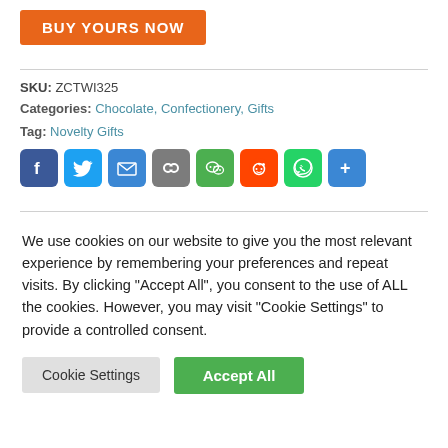BUY YOURS NOW
SKU: ZCTWI325
Categories: Chocolate, Confectionery, Gifts
Tag: Novelty Gifts
[Figure (other): Social share icons: Facebook, Twitter, Email, Copy Link, WeChat, Reddit, WhatsApp, Share]
We use cookies on our website to give you the most relevant experience by remembering your preferences and repeat visits. By clicking "Accept All", you consent to the use of ALL the cookies. However, you may visit "Cookie Settings" to provide a controlled consent.
Cookie Settings   Accept All